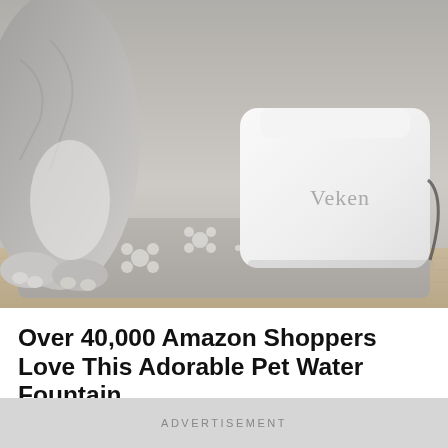[Figure (photo): A gray and white kitten standing next to a white Veken brand pet water fountain, both placed on a gray decorative mat with white paw print and flower patterns, on a wooden floor surface.]
Over 40,000 Amazon Shoppers Love This Adorable Pet Water Fountain
ADVERTISEMENT